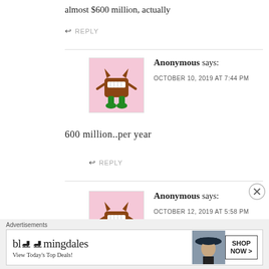almost $600 million, actually
↩ REPLY
Anonymous says:
OCTOBER 10, 2019 AT 7:44 PM
600 million..per year
↩ REPLY
Anonymous says:
OCTOBER 12, 2019 AT 5:58 PM
Advertisements
[Figure (other): Bloomingdale's advertisement banner with logo, model photo, and 'SHOP NOW >' button. Tagline: View Today's Top Deals!]